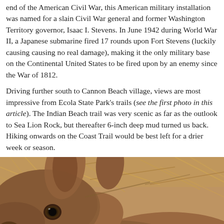end of the American Civil War, this American military installation was named for a slain Civil War general and former Washington Territory governor, Isaac I. Stevens. In June 1942 during World War II, a Japanese submarine fired 17 rounds upon Fort Stevens (luckily causing causing no real damage), making it the only military base on the Continental United States to be fired upon by an enemy since the War of 1812.
Driving further south to Cannon Beach village, views are most impressive from Ecola State Park's trails (see the first photo in this article). The Indian Beach trail was very scenic as far as the outlook to Sea Lion Rock, but thereafter 6-inch deep mud turned us back. Hiking onwards on the Coast Trail would be best left for a drier week or season.
[Figure (photo): Close-up photo of a deer or elk lying down in dry grass and brush, showing its face and ears in detail, warm brown tones.]